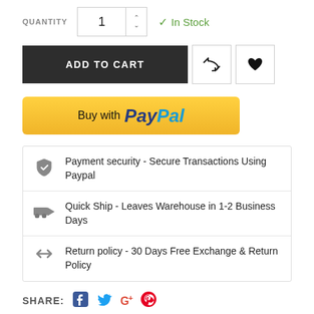QUANTITY  1  In Stock
[Figure (screenshot): Add to cart button, retweet icon button, and heart/wishlist icon button]
[Figure (screenshot): Buy with PayPal button in yellow/gold color]
Payment security - Secure Transactions Using Paypal
Quick Ship - Leaves Warehouse in 1-2 Business Days
Return policy - 30 Days Free Exchange & Return Policy
SHARE: